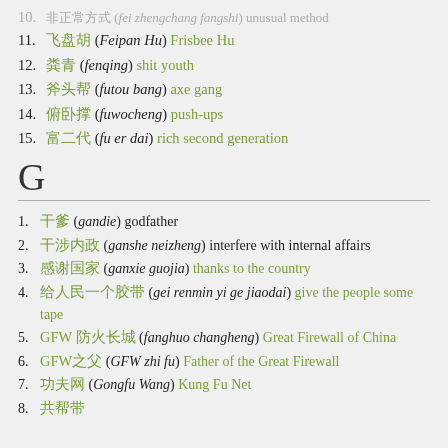10. 非正常方式 (fei zhengchang fangshi) unusual method
11. 飞盘胡 (Feipan Hu) Frisbee Hu
12. 粪青 (fenqing) shit youth
13. 斧头帮 (futou bang) axe gang
14. 俯卧撑 (fuwocheng) push-ups
15. 富二代 (fu er dai) rich second generation
G
1. 干爹 (gandie) godfather
2. 干涉内政 (ganshe neizheng) interfere with internal affairs
3. 感谢国家 (ganxie guojia) thanks to the country
4. 给人民一个胶带 (gei renmin yi ge jiaodai) give the people some tape
5. GFW 防火长城 (fanghuo changheng) Great Firewall of China
6. GFW之父 (GFW zhi fu) Father of the Great Firewall
7. 功夫网 (Gongfu Wang) Kung Fu Net
8. 共帮带